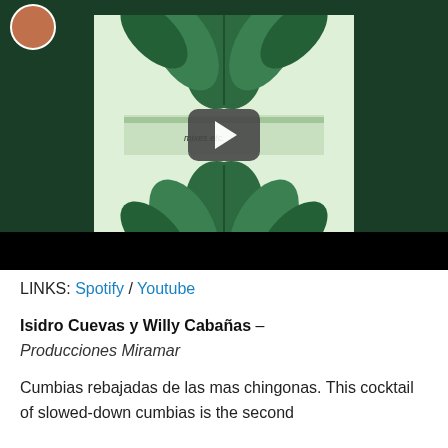[Figure (screenshot): Video player thumbnail showing a botanical/leaf pattern album cover art with a dark green background and a play button overlay. A small circular avatar icon is in the top-left corner.]
LINKS: Spotify / Youtube
Isidro Cuevas y Willy Cabañas – Producciones Miramar
Cumbias rebajadas de las mas chingonas. This cocktail of slowed-down cumbias is the second